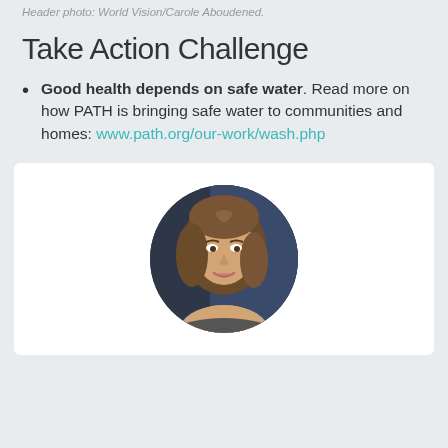Header photo: World Vision/Carole Aboudened.
Take Action Challenge
Good health depends on safe water. Read more on how PATH is bringing safe water to communities and homes: www.path.org/our-work/wash.php
[Figure (photo): Circular portrait photo of a middle-aged woman with shoulder-length brown hair, smiling slightly, on a dark background. Displayed inside a white rounded rectangle card.]